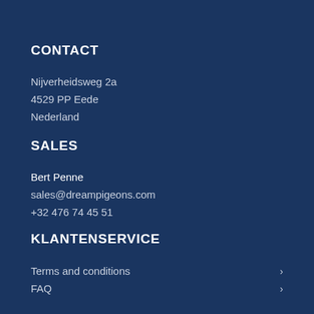CONTACT
Nijverheidsweg 2a
4529 PP Eede
Nederland
SALES
Bert Penne
sales@dreampigeons.com
+32 476 74 45 51
KLANTENSERVICE
Terms and conditions
FAQ